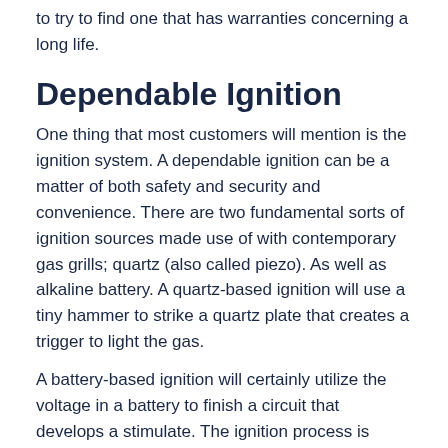to try to find one that has warranties concerning a long life.
Dependable Ignition
One thing that most customers will mention is the ignition system. A dependable ignition can be a matter of both safety and security and convenience. There are two fundamental sorts of ignition sources made use of with contemporary gas grills; quartz (also called piezo). As well as alkaline battery. A quartz-based ignition will use a tiny hammer to strike a quartz plate that creates a trigger to light the gas.
A battery-based ignition will certainly utilize the voltage in a battery to finish a circuit that develops a stimulate. The ignition process is either started by a button or transform knob. There is some argument over which design and also control is